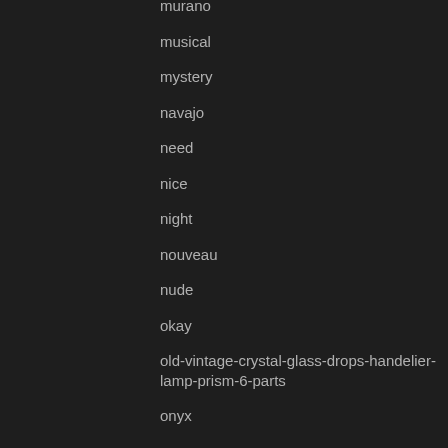murano
musical
mystery
navajo
need
nice
night
nouveau
nude
okay
old-vintage-crystal-glass-drops-handelier-lamp-prism-6-parts
onyx
open
optimus
ordering